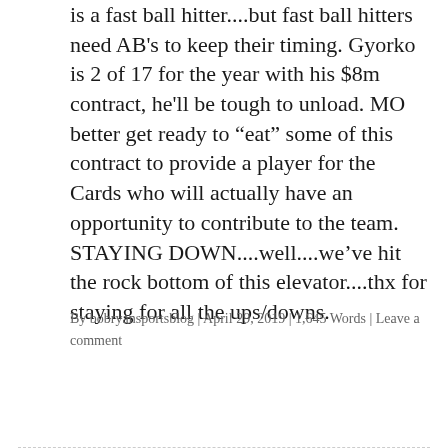is a fast ball hitter....but fast ball hitters need AB's to keep their timing. Gyorko is 2 of 17 for the year with his $8m contract, he'll be tough to unload. MO better get ready to “eat” some of this contract to provide a player for the Cards who will actually have an opportunity to contribute to the team. STAYING DOWN....well....we’ve hit the rock bottom of this elevator....thx for staying for all the ups/downs.
By bobryansportsblog | April 29, 2019 | 1,645 Words | Leave a comment
Older posts